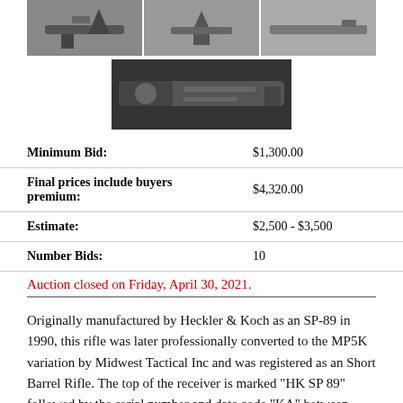[Figure (photo): Three photos of a firearm (HK SP-89/MP5K), shown in a row at the top of the page]
[Figure (photo): Single centered photo showing close-up of the firearm receiver/barrel]
| Minimum Bid: | $1,300.00 |
| Final prices include buyers premium: | $4,320.00 |
| Estimate: | $2,500 - $3,500 |
| Number Bids: | 10 |
Auction closed on Friday, April 30, 2021.
Originally manufactured by Heckler & Koch as an SP-89 in 1990, this rifle was later professionally converted to the MP5K variation by Midwest Tactical Inc and was registered as an Short Barrel Rifle. The top of the receiver is marked "HK SP 89" followed by the serial number and date code "KA" between German nitro and Ulm proofs.